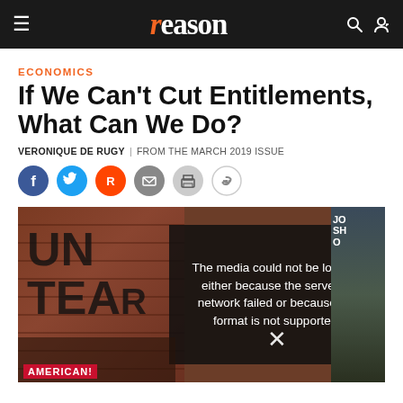reason
ECONOMICS
If We Can't Cut Entitlements, What Can We Do?
VERONIQUE DE RUGY | FROM THE MARCH 2019 ISSUE
[Figure (photo): Protest scene with brick wall painted with text 'UNTEAR' and protesters with signs. Video player overlay showing error message: 'The media could not be loaded, either because the server or network failed or because the format is not supported.']